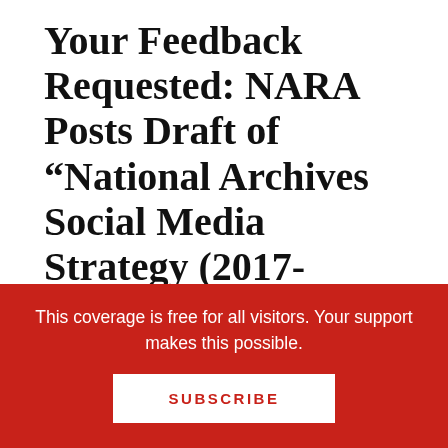Your Feedback Requested: NARA Posts Draft of “National Archives Social Media Strategy (2017-2020)”
August 28, 2016 by Gary Price
From the National Archives and Records Administration (NARA) “NARAtions” Blog:
This coverage is free for all visitors. Your support makes this possible.
SUBSCRIBE